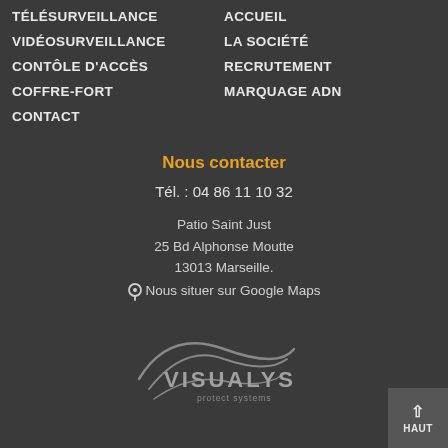TÉLÉSURVEILLANCE
VIDÉOSURVEILLANCE
CONTÔLE D'ACCÈS
COFFRE-FORT
CONTACT
ACCUEIL
LA SOCIÉTÉ
RECRUTEMENT
MARQUAGE ADN
Nous contacter
Tél. : 04 86 11 10 32
Patio Saint Just
25 Bd Alphonse Moutte
13013 Marseille.
📍 Nous situer sur Google Maps
[Figure (logo): VISUALYS protect systems logo — circular swoosh arcs in grey with the text VISUALYS in grey capitals and 'protect systems' in smaller text below]